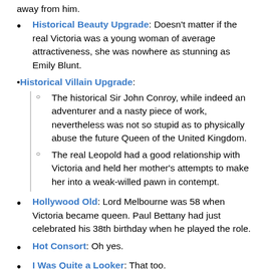away from him.
Historical Beauty Upgrade: Doesn't matter if the real Victoria was a young woman of average attractiveness, she was nowhere as stunning as Emily Blunt.
Historical Villain Upgrade:
The historical Sir John Conroy, while indeed an adventurer and a nasty piece of work, nevertheless was not so stupid as to physically abuse the future Queen of the United Kingdom.
The real Leopold had a good relationship with Victoria and held her mother's attempts to make her into a weak-willed pawn in contempt.
Hollywood Old: Lord Melbourne was 58 when Victoria became queen. Paul Bettany had just celebrated his 38th birthday when he played the role.
Hot Consort: Oh yes.
I Was Quite a Looker: That too.
Kick the Dog: Literally: after violently manhandling Victoria